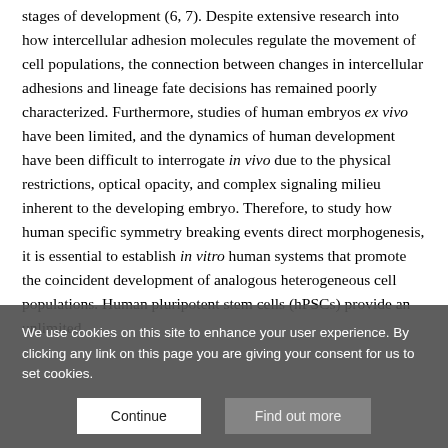stages of development (6, 7). Despite extensive research into how intercellular adhesion molecules regulate the movement of cell populations, the connection between changes in intercellular adhesions and lineage fate decisions has remained poorly characterized. Furthermore, studies of human embryos ex vivo have been limited, and the dynamics of human development have been difficult to interrogate in vivo due to the physical restrictions, optical opacity, and complex signaling milieu inherent to the developing embryo. Therefore, to study how human specific symmetry breaking events direct morphogenesis, it is essential to establish in vitro human systems that promote the coincident development of analogous heterogeneous cell populations. Human pluripotent stem cells (hPSCs) provide an unlimited
We use cookies on this site to enhance your user experience. By clicking any link on this page you are giving your consent for us to set cookies.